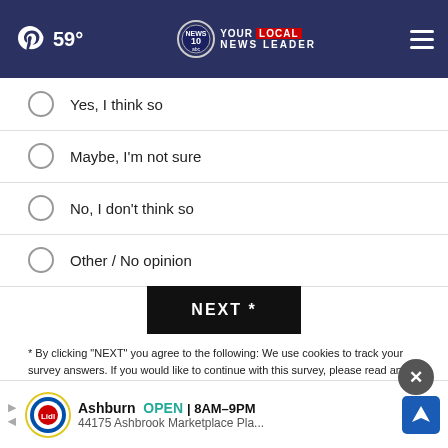59° NEWS 10 ABC YOUR LOCAL NEWS LEADER
Yes, I think so
Maybe, I'm not sure
No, I don't think so
Other / No opinion
NEXT *
* By clicking "NEXT" you agree to the following: We use cookies to track your survey answers. If you would like to continue with this survey, please read and agree to the CivicScience Privacy Policy and Terms of Service
TOP STORIES ▶
[Figure (screenshot): Thumbnail image strip at bottom showing a video play button on left and a blurred news image on right with text 'HAV...' visible]
[Figure (infographic): Lidl advertisement overlay: Ashburn OPEN 8AM-9PM, 44175 Ashbrook Marketplace Pla... with navigation icon]